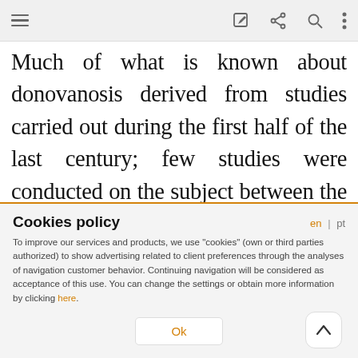toolbar with hamburger menu, edit, share, search, more icons
Much of what is known about donovanosis derived from studies carried out during the first half of the last century; few studies were conducted on the subject between the mid-1960s and 1990s. Since 1990, there has been an increase in scientific interest in this sexually transmitted infection (STI); much of this interest has arisen from the association between genital ulcers and HIV transmission.
Cookies policy
To improve our services and products, we use "cookies" (own or third parties authorized) to show advertising related to client preferences through the analyses of navigation customer behavior. Continuing navigation will be considered as acceptance of this use. You can change the settings or obtain more information by clicking here.
Ok